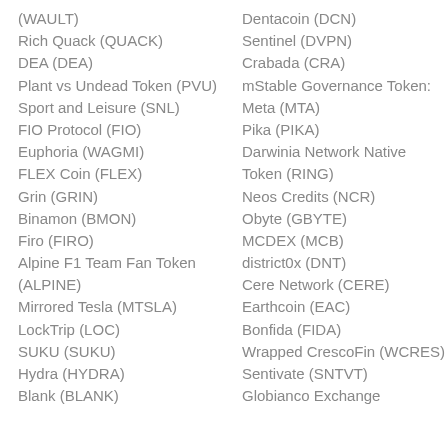(WAULT)
Rich Quack (QUACK)
DEA (DEA)
Plant vs Undead Token (PVU)
Sport and Leisure (SNL)
FIO Protocol (FIO)
Euphoria (WAGMI)
FLEX Coin (FLEX)
Grin (GRIN)
Binamon (BMON)
Firo (FIRO)
Alpine F1 Team Fan Token (ALPINE)
Mirrored Tesla (MTSLA)
LockTrip (LOC)
SUKU (SUKU)
Hydra (HYDRA)
Blank (BLANK)
Dentacoin (DCN)
Sentinel (DVPN)
Crabada (CRA)
mStable Governance Token: Meta (MTA)
Pika (PIKA)
Darwinia Network Native Token (RING)
Neos Credits (NCR)
Obyte (GBYTE)
MCDEX (MCB)
district0x (DNT)
Cere Network (CERE)
Earthcoin (EAC)
Bonfida (FIDA)
Wrapped CrescoFin (WCRES)
Sentivate (SNTVT)
Globianco Exchange